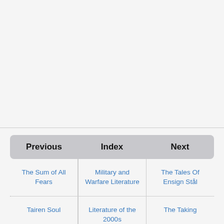| Previous | Index | Next |
| --- | --- | --- |
| The Sum of All Fears | Military and Warfare Literature | The Tales Of Ensign Stål |
| Tairen Soul | Literature of the 2000s | The Taking |
|  | Military Science | Tau Ceti Agenda |